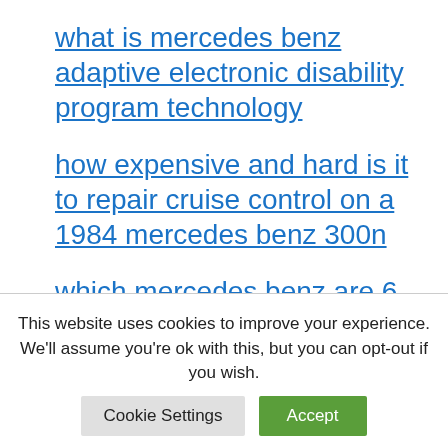what is mercedes benz adaptive electronic disability program technology
how expensive and hard is it to repair cruise control on a 1984 mercedes benz 300n
which mercedes benz are 6 cylinder engines
how long to change a mercedes benz ml 320 2002 front bumper
This website uses cookies to improve your experience. We'll assume you're ok with this, but you can opt-out if you wish.